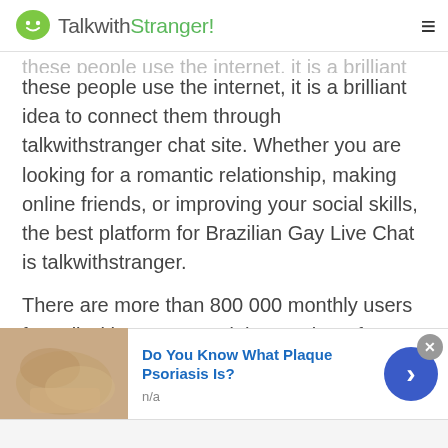TalkwithStranger!
these people use the internet, it is a brilliant idea to connect them through talkwithstranger chat site. Whether you are looking for a romantic relationship, making online friends, or improving your social skills, the best platform for Brazilian Gay Live Chat is talkwithstranger.
There are more than 800 000 monthly users for Talkwithstranger and the number of users expands with 12000 more users joining the stranger chat app every day. These numbers are enough to estimate the popularity of the platform. Unlike most ordinary chat
[Figure (screenshot): Advertisement banner: image of hands/skin on left, blue bold text 'Do You Know What Plaque Psoriasis Is?', subtext 'n/a', blue arrow button on right, close X button top right]